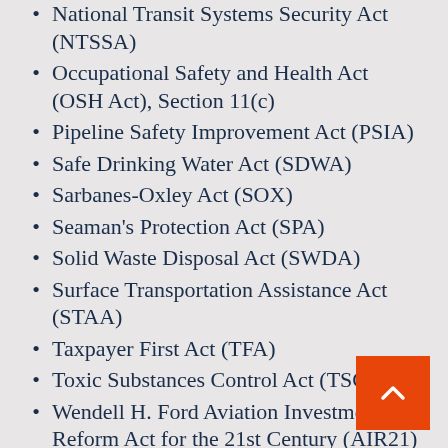National Transit Systems Security Act (NTSSA)
Occupational Safety and Health Act (OSH Act), Section 11(c)
Pipeline Safety Improvement Act (PSIA)
Safe Drinking Water Act (SDWA)
Sarbanes-Oxley Act (SOX)
Seaman's Protection Act (SPA)
Solid Waste Disposal Act (SWDA)
Surface Transportation Assistance Act (STAA)
Taxpayer First Act (TFA)
Toxic Substances Control Act (TSCA)
Wendell H. Ford Aviation Investment and Reform Act for the 21st Century (AIR21)